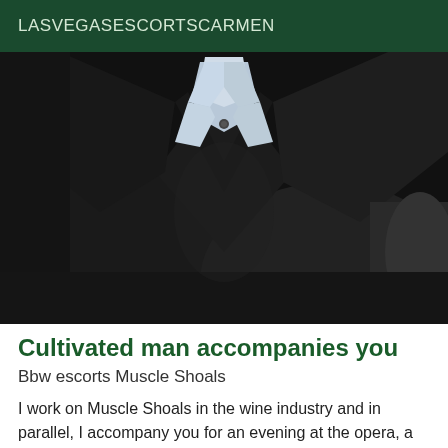LASVEGASESCORTSCARMEN
[Figure (photo): Close-up photo of a man wearing a dark black sweater or jacket with a light blue/white collared shirt visible at the neck area. The image is cropped to show the chest and collar region only, no face visible.]
Cultivated man accompanies you
Bbw escorts Muscle Shoals
I work on Muscle Shoals in the wine industry and in parallel, I accompany you for an evening at the opera, a